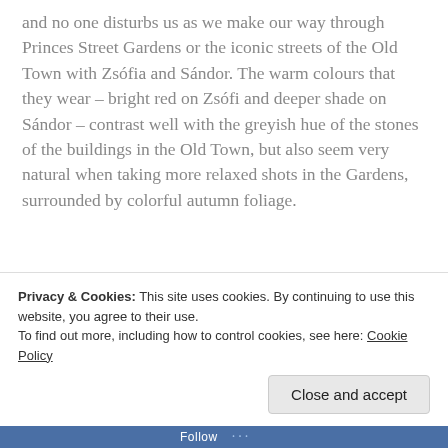and no one disturbs us as we make our way through Princes Street Gardens or the iconic streets of the Old Town with Zsófia and Sándor. The warm colours that they wear – bright red on Zsófi and deeper shade on Sándor – contrast well with the greyish hue of the stones of the buildings in the Old Town, but also seem very natural when taking more relaxed shots in the Gardens, surrounded by colorful autumn foliage.
[Figure (photo): Outdoor photo showing stone wall or pavement with dark cylindrical objects (possibly bollards or posts) in the center, blue accent on one, green foliage visible at right edge. Dark, muted autumn tones.]
Privacy & Cookies: This site uses cookies. By continuing to use this website, you agree to their use.
To find out more, including how to control cookies, see here: Cookie Policy
Close and accept
Follow ...